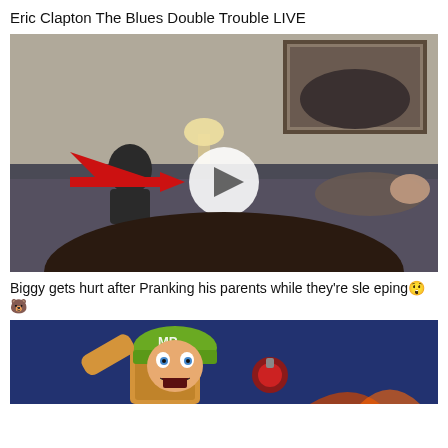Eric Clapton The Blues Double Trouble LIVE
[Figure (photo): A bedroom scene with a person kneeling on a bed and another person lying down, with a red arrow pointing to the standing person. A white circular play button overlay is in the center of the image. A framed picture hangs on the wall in the background.]
Biggy gets hurt after Pranking his parents while they're sleeping😲🐻
[Figure (illustration): An animated cartoon soldier character wearing a green helmet with 'MP' written on it, appearing distressed or scared, with a blue night-sky background.]